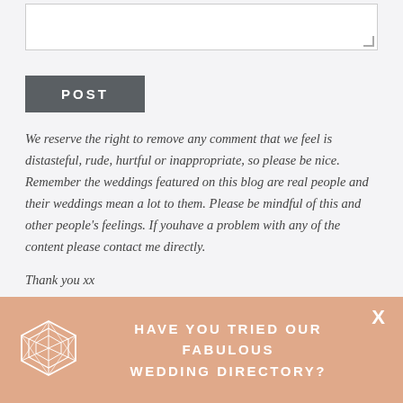[Figure (other): Textarea input box for comment submission]
POST
We reserve the right to remove any comment that we feel is distasteful, rude, hurtful or inappropriate, so please be nice. Remember the weddings featured on this blog are real people and their weddings mean a lot to them. Please be mindful of this and other people's feelings. If youhave a problem with any of the content please contact me directly.
Thank you xx
This site uses Akismet to reduce spam. Learn how your comment data is processed.
HAVE YOU TRIED OUR FABULOUS WEDDING DIRECTORY?